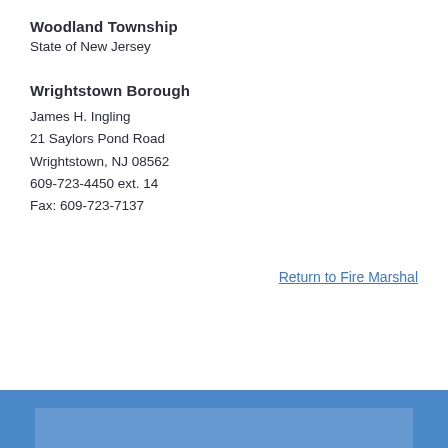Woodland Township
State of New Jersey
Wrightstown Borough
James H. Ingling
21 Saylors Pond Road
Wrightstown, NJ 08562
609-723-4450 ext. 14
Fax: 609-723-7137
Return to Fire Marshal